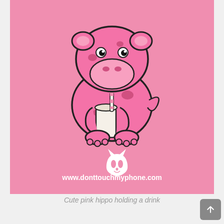[Figure (illustration): Cute cartoon pink hippo holding a white drink cup, set against a pink background. Below the hippo is a small white cat skull/demon logo icon and the text www.donttouchmyphone.com in white.]
Cute pink hippo holding a drink